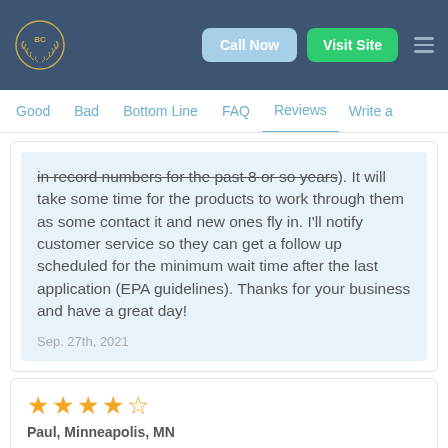[Figure (logo): BC logo in golden wreath on dark blue header background]
Call Now | Visit Site
Good  Bad  Bottom Line  FAQ  Reviews  Write a
in record numbers for the past 8 or so years). It will take some time for the products to work through them as some contact it and new ones fly in. I'll notify customer service so they can get a follow up scheduled for the minimum wait time after the last application (EPA guidelines). Thanks for your business and have a great day!
Sep. 27th, 2021
★★★★☆
Paul, Minneapolis, MN